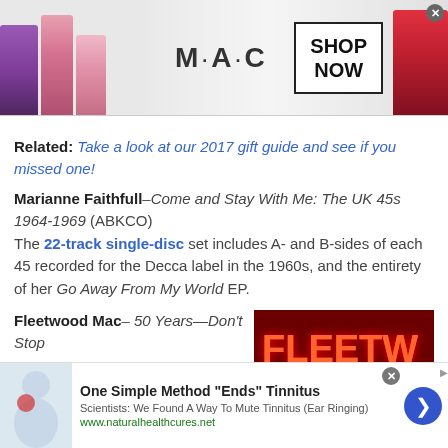[Figure (photo): MAC Cosmetics advertisement banner with lipsticks, MAC logo, and SHOP NOW button]
Related: Take a look at our 2017 gift guide and see if you missed one!
Marianne Faithfull–Come and Stay With Me: The UK 45s 1964-1969 (ABKCO)
The 22-track single-disc set includes A- and B-sides of each 45 recorded for the Decca label in the 1960s, and the entirety of her Go Away From My World EP.
Fleetwood Mac–50 Years—Don't Stop
[Figure (photo): Fleetwood Mac neon sign in red/orange on dark red background]
[Figure (photo): Advertisement: One Simple Method Ends Tinnitus - Scientists: We Found A Way To Mute Tinnitus (Ear Ringing) - www.naturalhealthcures.net]